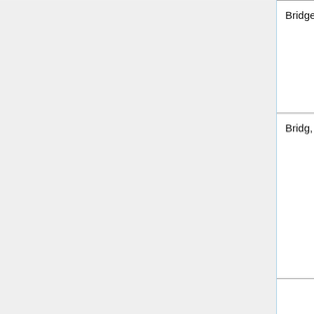|  | Author | Year | Source |
| --- | --- | --- | --- |
|  | Bridge | 1976 | Civil Engineering Transactions |
|  | Bridg, O'Shea, Gardner, Grigson & Tyrrell | 1995 | Structural Stability and Design: Proceedings of the International Conference Structural Stability and Design |
|  |  |  | Proceedings of the Fifth International Colloquium Stability of... |